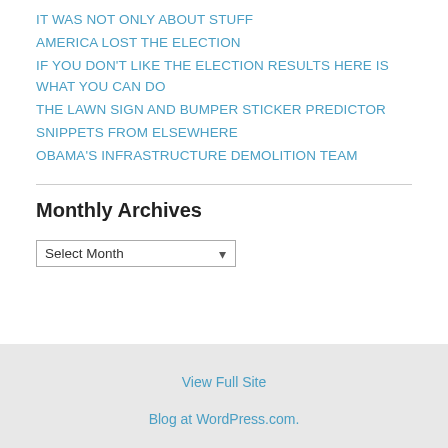IT WAS NOT ONLY ABOUT STUFF
AMERICA LOST THE ELECTION
IF YOU DON'T LIKE THE ELECTION RESULTS HERE IS WHAT YOU CAN DO
THE LAWN SIGN AND BUMPER STICKER PREDICTOR
SNIPPETS FROM ELSEWHERE
OBAMA'S INFRASTRUCTURE DEMOLITION TEAM
Monthly Archives
View Full Site
Blog at WordPress.com.